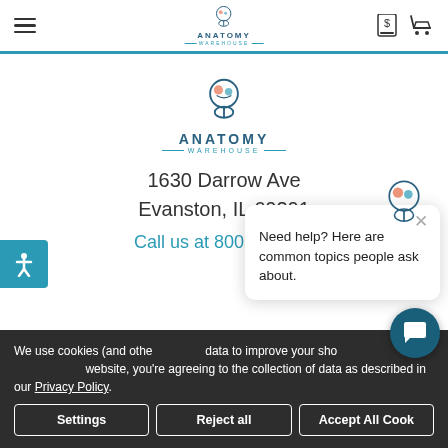Anatomy Warehouse - header navigation with hamburger menu, logo, bill icon, and cart icon
[Figure (logo): Anatomy Warehouse logo with brain/head illustration, centered on page]
1630 Darrow Ave
Evanston, IL 60201
Call us at 800.422.113...
Need help? Here are common topics people ask about.
We use cookies (and other data to improve your shopping experience. By using this website, you're agreeing to the collection of data as described in our Privacy Policy.